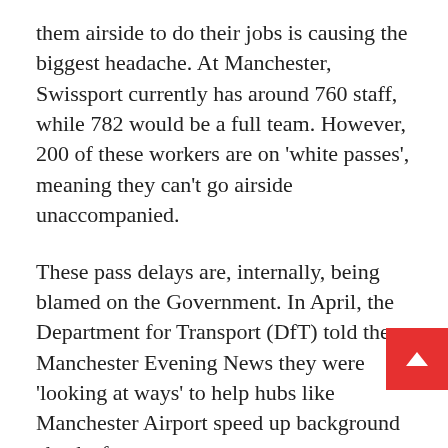them airside to do their jobs is causing the biggest headache. At Manchester, Swissport currently has around 760 staff, while 782 would be a full team. However, 200 of these workers are on 'white passes', meaning they can't go airside unaccompanied.
These pass delays are, internally, being blamed on the Government. In April, the Department for Transport (DfT) told the Manchester Evening News they were 'looking at ways' to help hubs like Manchester Airport speed up background checks for new starters.
Currently, employers such as Manchester Airport are bound by EU legislation which means the must delve into years of previous employment, a tion and how o is to Wer ist